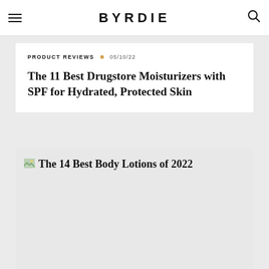BYRDIE
PRODUCT REVIEWS • 05/10/22
The 11 Best Drugstore Moisturizers with SPF for Hydrated, Protected Skin
[Figure (photo): Broken image placeholder for article link: The 14 Best Body Lotions of 2022]
The 14 Best Body Lotions of 2022